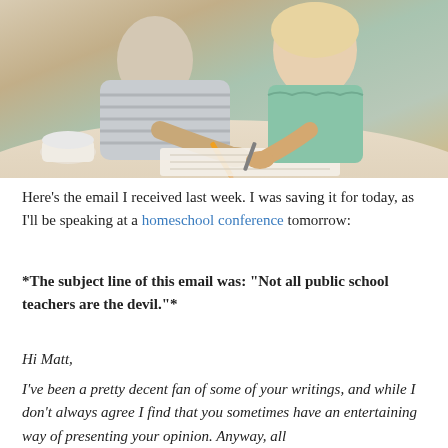[Figure (photo): An adult and a young girl sitting together at a table, both writing/drawing on paper. The adult wears a striped shirt and the child wears a green top.]
Here's the email I received last week. I was saving it for today, as I'll be speaking at a homeschool conference tomorrow:
*The subject line of this email was: “Not all public school teachers are the devil.”*
Hi Matt,
I’ve been a pretty decent fan of some of your writings, and while I don’t always agree I find that you sometimes have an entertaining way of presenting your opinion. Anyway, all